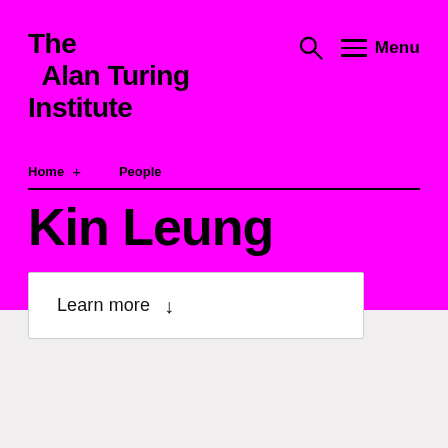The Alan Turing Institute
Home + People
Kin Leung
Learn more ↓